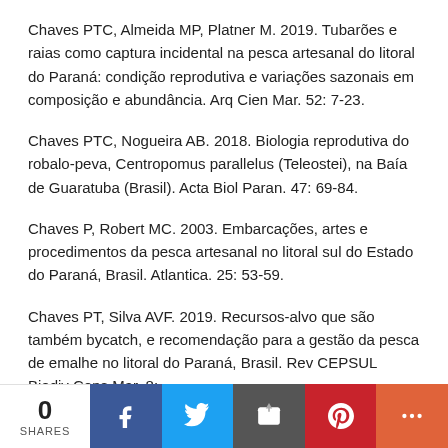Chaves PTC, Almeida MP, Platner M. 2019. Tubarões e raias como captura incidental na pesca artesanal do litoral do Paraná: condição reprodutiva e variações sazonais em composição e abundância. Arq Cien Mar. 52: 7-23.
Chaves PTC, Nogueira AB. 2018. Biologia reprodutiva do robalo-peva, Centropomus parallelus (Teleostei), na Baía de Guaratuba (Brasil). Acta Biol Paran. 47: 69-84.
Chaves P, Robert MC. 2003. Embarcações, artes e procedimentos da pesca artesanal no litoral sul do Estado do Paraná, Brasil. Atlantica. 25: 53-59.
Chaves PT, Silva AVF. 2019. Recursos-alvo que são também bycatch, e recomendação para a gestão da pesca de emalhe no litoral do Paraná, Brasil. Rev CEPSUL Biodiv Cons Mar. 8:
0 SHARES | Facebook | Twitter | Email | Pinterest | More